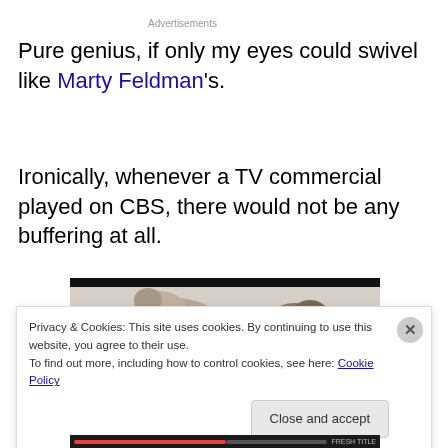Advertisements
Pure genius, if only my eyes could swivel like Marty Feldman's.
Ironically, whenever a TV commercial played on CBS, there would not be any buffering at all.
[Figure (photo): Video thumbnail showing two camels or animal figures against a light background, with a dark top bar.]
Privacy & Cookies: This site uses cookies. By continuing to use this website, you agree to their use.
To find out more, including how to control cookies, see here: Cookie Policy